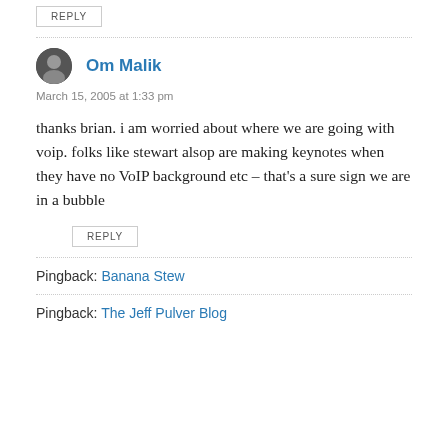REPLY
Om Malik
March 15, 2005 at 1:33 pm
thanks brian. i am worried about where we are going with voip. folks like stewart alsop are making keynotes when they have no VoIP background etc – that's a sure sign we are in a bubble
REPLY
Pingback: Banana Stew
Pingback: The Jeff Pulver Blog